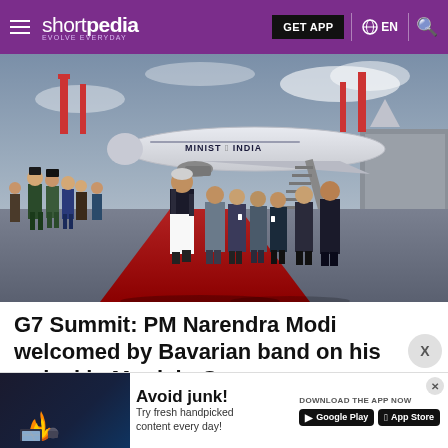shortpedia — EVOLVE EVERYDAY | GET APP | EN
[Figure (photo): PM Narendra Modi walking on a red carpet on an airport tarmac with an Air India aircraft reading 'MINIST OF INDIA' in the background. A Bavarian band in traditional costume is visible on the left. Several men in suits walk behind Modi.]
G7 Summit: PM Narendra Modi welcomed by Bavarian band on his arrival in Munich, Germany